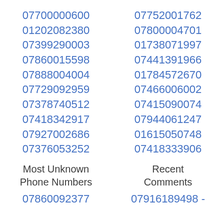07700000600
01202082380
07399290003
07860015598
07888004004
07729092959
07378740512
07418342917
07927002686
07376053252
07752001762
07800004701
01738071997
07441391966
01784572670
07466006002
07415090074
07944061247
01615050748
07418333906
Most Unknown Phone Numbers
Recent Comments
07860092377
07916189498 -